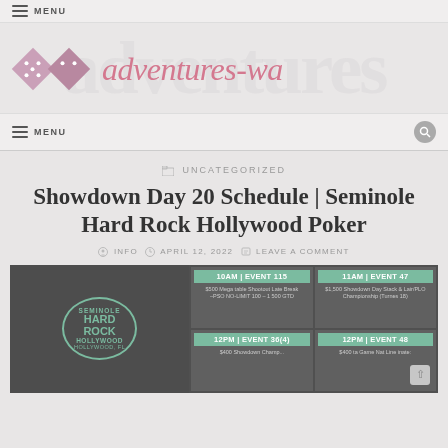≡ MENU
[Figure (logo): adventures-wa website logo with pink diamond dice icons and italic pink site title]
≡ MENU
UNCATEGORIZED
Showdown Day 20 Schedule | Seminole Hard Rock Hollywood Poker
INFO  APRIL 12, 2022  LEAVE A COMMENT
[Figure (screenshot): Seminole Hard Rock Hollywood Poker showdown day schedule image showing events: 10AM EVENT 115, 11AM EVENT 47, 12PM EVENT 36(4), 12PM EVENT 48 with green headers and dark background]